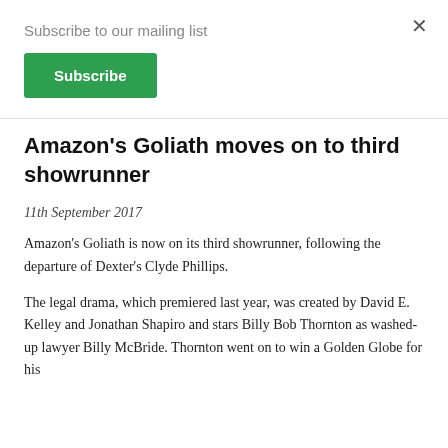Subscribe to our mailing list
Subscribe
Amazon's Goliath moves on to third showrunner
11th September 2017
Amazon's Goliath is now on its third showrunner, following the departure of Dexter's Clyde Phillips.
The legal drama, which premiered last year, was created by David E. Kelley and Jonathan Shapiro and stars Billy Bob Thornton as washed-up lawyer Billy McBride. Thornton went on to win a Golden Globe for his